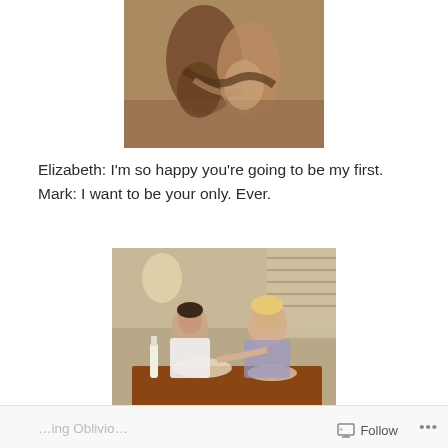[Figure (photo): A couple embracing closely, cropped image showing intertwined arms and bodies]
Elizabeth: I'm so happy you're going to be my first.
Mark: I want to be your only. Ever.
[Figure (photo): Two women sitting at a dinner table having an intense conversation, food and drinks on table]
Teenage infatuation and first love becomes obsessive and dangerous in this timely Lifetime Movie Channel original
Follow  ...